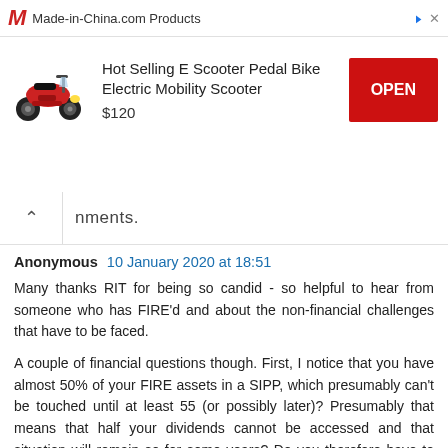[Figure (screenshot): Advertisement banner for Made-in-China.com featuring a red electric scooter. Product: Hot Selling E Scooter Pedal Bike Electric Mobility Scooter, price $120, with red OPEN button.]
nments.
Anonymous 10 January 2020 at 18:51
Many thanks RIT for being so candid - so helpful to hear from someone who has FIRE'd and about the non-financial challenges that have to be faced.
A couple of financial questions though. First, I notice that you have almost 50% of your FIRE assets in a SIPP, which presumably can't be touched until at least 55 (or possibly later)? Presumably that means that half your dividends cannot be accessed and that situation will remain so for some years? Do you therefore have to raise the rest of your income through selling stock or do you always keep enough cash on hand to cover expenses?
Second, given the substantial size of your SIPP are you